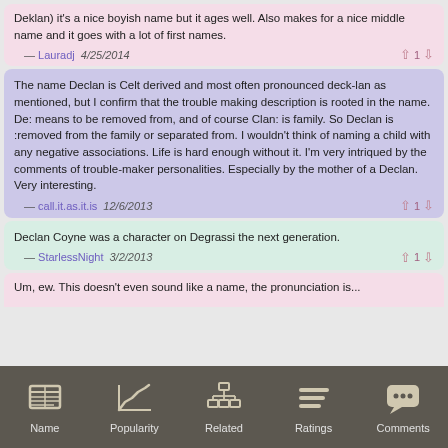Deklan) it's a nice boyish name but it ages well. Also makes for a nice middle name and it goes with a lot of first names.
— Lauradj  4/25/2014  ↑ 1 ↓
The name Declan is Celt derived and most often pronounced deck-lan as mentioned, but I confirm that the trouble making description is rooted in the name. De: means to be removed from, and of course Clan: is family. So Declan is :removed from the family or separated from. I wouldn't think of naming a child with any negative associations. Life is hard enough without it. I'm very intriqued by the comments of trouble-maker personalities. Especially by the mother of a Declan. Very interesting.
— call.it.as.it.is  12/6/2013  ↑ 1 ↓
Declan Coyne was a character on Degrassi the next generation.
— StarlessNight  3/2/2013  ↑ 1 ↓
Um, ew. This doesn't even sound like a name, the pronunciation is...
[Figure (screenshot): Bottom navigation bar with icons for Name, Popularity, Related, Ratings, Comments]